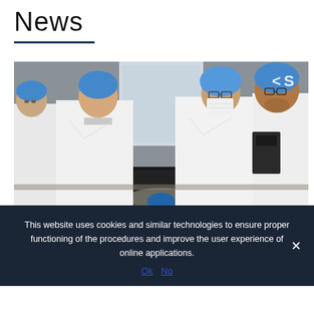News
[Figure (photo): Group of researchers in white lab coats and blue hair nets/caps in a laboratory setting. One person wears a white face mask. They are gathered around laboratory equipment including a black case. There is a partial logo visible in the upper right corner.]
This website uses cookies and similar technologies to ensure proper functioning of the procedures and improve the user experience of online applications.
Ok No